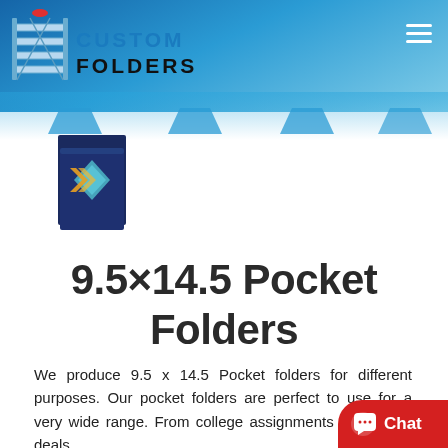Custom Folders
[Figure (photo): Thumbnail image of a dark blue pocket folder with colorful geometric design on the cover, shown slightly open]
9.5×14.5 Pocket Folders
We produce 9.5 x 14.5 Pocket folders for different purposes. Our pocket folders are perfect to use for a very wide range. From college assignments to contract deals,